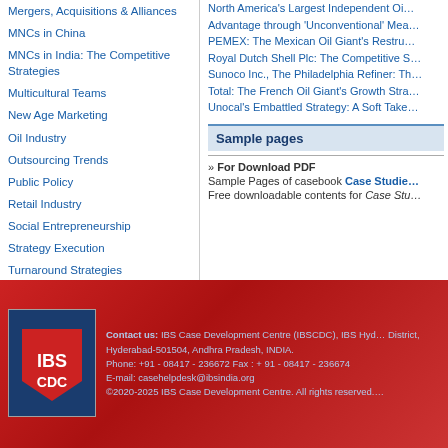Mergers, Acquisitions & Alliances
MNCs in China
MNCs in India: The Competitive Strategies
Multicultural Teams
New Age Marketing
Oil Industry
Outsourcing Trends
Public Policy
Retail Industry
Social Entrepreneurship
Strategy Execution
Turnaround Strategies
US Automobile Industry
North America's Largest Independent Oi...
Advantage through 'Unconventional' Mea...
PEMEX: The Mexican Oil Giant's Restru...
Royal Dutch Shell Plc: The Competitive S...
Sunoco Inc., The Philadelphia Refiner: Th...
Total: The French Oil Giant's Growth Stra...
Unocal's Embattled Strategy: A Soft Take...
Sample pages
» For Download PDF
Sample Pages of casebook Case Studie...
Free downloadable contents for Case Stu...
[Figure (logo): IBS CDC logo — blue shield with red chevron, white text IBS CDC]
Contact us: IBS Case Development Centre (IBSCDC), IBS Hyd... District, Hyderabad-501504, Andhra Pradesh, INDIA. Phone: +91 - 08417 - 236672 Fax : + 91 - 08417 - 236674 E-mail: casehelpdesk@ibsindia.org
©2020-2025 IBS Case Development Centre. All rights reserved.